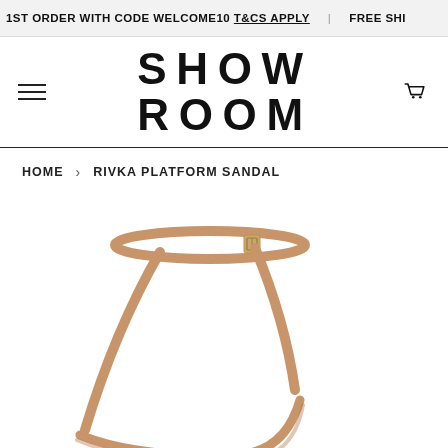1ST ORDER WITH CODE WELCOME10 T&CS APPLY | FREE SHI
SHOW ROOM
HOME › RIVKA PLATFORM SANDAL
[Figure (photo): Partial view of a tan/nude leather platform sandal with a thin ankle strap and gold buckle detail, shown against a white background]